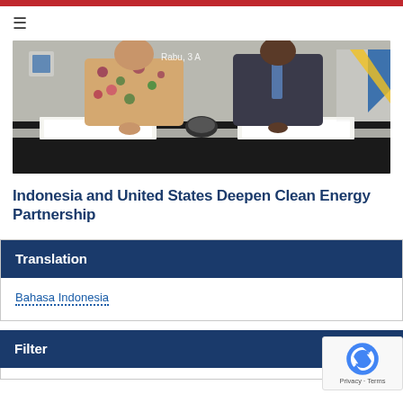≡
[Figure (photo): Two officials signing documents at a table in front of a backdrop. One person wearing a floral shirt on the left, another in a dark suit on the right. A timestamp reading 'Rabu, 3 A...' visible in upper portion.]
Indonesia and United States Deepen Clean Energy Partnership
Translation
Bahasa Indonesia
Filter